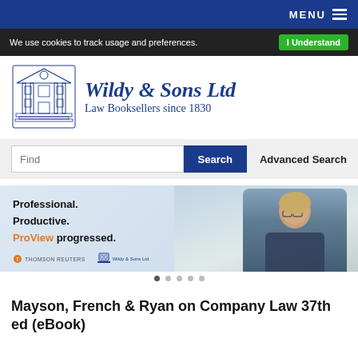MENU
We use cookies to track usage and preferences.  I Understand
[Figure (logo): Wildy & Sons Ltd law booksellers building logo, blue line illustration of a classical building facade]
Wildy & Sons Ltd
Law Booksellers since 1830
Find  Search  Advanced Search
[Figure (photo): Promotional banner advertisement: 'Professional. Productive. ProView progressed.' with Thomson Reuters logo and photo of a professional woman wearing glasses reading a tablet, accompanied by Wildy & Sons logo.]
Mayson, French & Ryan on Company Law 37th ed (eBook)